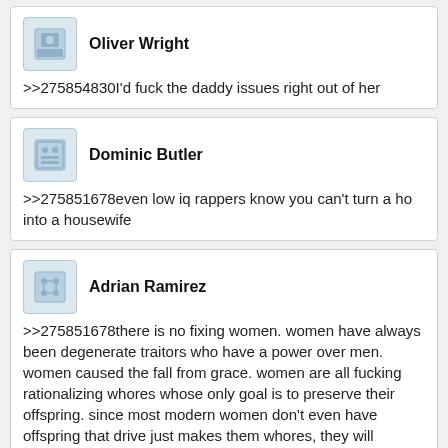Oliver Wright
>>275854830I'd fuck the daddy issues right out of her
Dominic Butler
>>275851678even low iq rappers know you can't turn a ho into a housewife
Adrian Ramirez
>>275851678there is no fixing women. women have always been degenerate traitors who have a power over men. women caused the fall from grace. women are all fucking rationalizing whores whose only goal is to preserve their offspring. since most modern women don't even have offspring that drive just makes them whores, they will bounce from man to man to man, any man that they see as stronger than the last they will cheat on the former man and either cuck them or leave. once you finally realize that women are fucking degenerate cunts